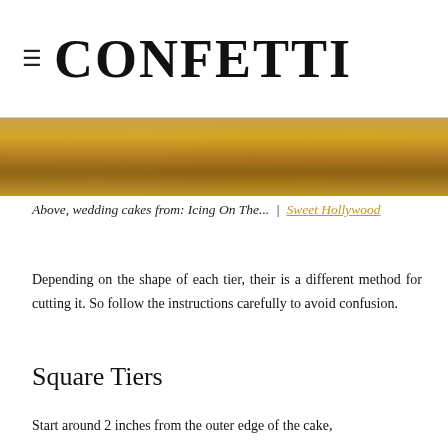CONFETTI
[Figure (photo): Close-up photo of a gold/metallic wedding cake with warm golden tones]
Above, wedding cakes from: Icing On The...  |  Sweet Hollywood
Depending on the shape of each tier, their is a different method for cutting it. So follow the instructions carefully to avoid confusion.
Square Tiers
Start around 2 inches from the outer edge of the cake,